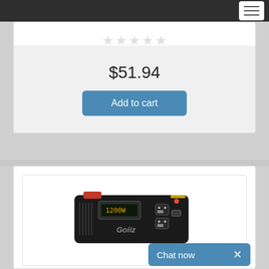Navigation bar with hamburger menu
[Figure (other): Five empty/outline star rating icons (no fill, gray outline) indicating 0 stars rating]
Cheap price 100w car power inverter for sale, charging via cigarette lighter, 12v DC to 11...
$51.94
Add to cart
[Figure (photo): Black rectangular car power inverter device with 'Goiiz' brand text, showing ports and LED display on the front panel]
Chat now